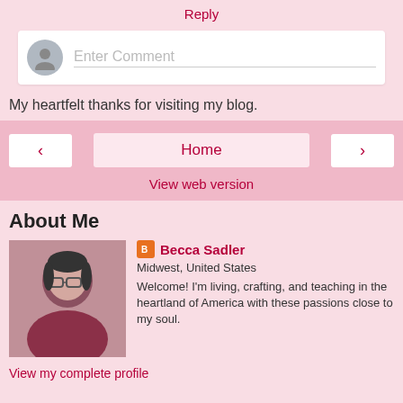Reply
[Figure (screenshot): Comment input box with avatar icon and placeholder text 'Enter Comment']
My heartfelt thanks for visiting my blog.
< Home > View web version
About Me
[Figure (photo): Profile photo of Becca Sadler]
Becca Sadler
Midwest, United States
Welcome! I'm living, crafting, and teaching in the heartland of America with these passions close to my soul.
View my complete profile